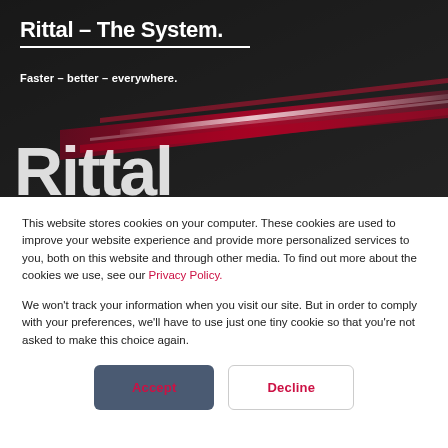[Figure (photo): Rittal website header with dark background, red and white light streaks, large white 'Rittal' text, tagline 'Rittal – The System.' and 'Faster – better – everywhere.']
Rittal – The System.
Faster – better – everywhere.
This website stores cookies on your computer. These cookies are used to improve your website experience and provide more personalized services to you, both on this website and through other media. To find out more about the cookies we use, see our Privacy Policy.
We won't track your information when you visit our site. But in order to comply with your preferences, we'll have to use just one tiny cookie so that you're not asked to make this choice again.